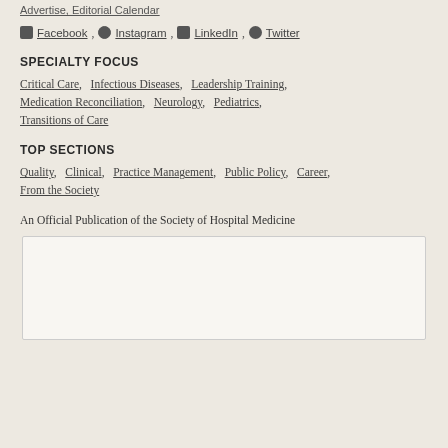Advertise, Editorial Calendar
Facebook, Instagram, LinkedIn, Twitter
SPECIALTY FOCUS
Critical Care, Infectious Diseases, Leadership Training, Medication Reconciliation, Neurology, Pediatrics, Transitions of Care
TOP SECTIONS
Quality, Clinical, Practice Management, Public Policy, Career, From the Society
An Official Publication of the Society of Hospital Medicine
[Figure (other): White/light box placeholder image area]